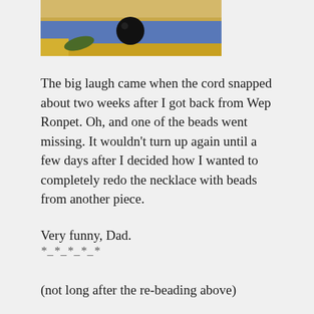[Figure (photo): Partial photo showing a black bead on a colorful background with blue, yellow and green tones, cropped at top of page]
The big laugh came when the cord snapped about two weeks after I got back from Wep Ronpet. Oh, and one of the beads went missing. It wouldn't turn up again until a few days after I decided how I wanted to completely redo the necklace with beads from another piece.
Very funny, Dad.
*_*_*_*_*
(not long after the re-beading above)